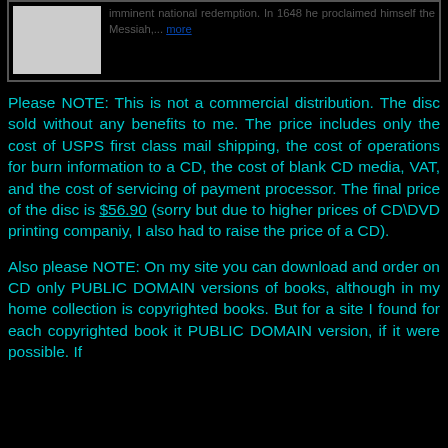[Figure (other): A box showing a thumbnail image on the left and text on the right describing imminent national redemption. In 1648 he proclaimed himself the Messiah,... more]
Please NOTE: This is not a commercial distribution. The disc sold without any benefits to me. The price includes only the cost of USPS first class mail shipping, the cost of operations for burn information to a CD, the cost of blank CD media, VAT, and the cost of servicing of payment processor. The final price of the disc is $56.90 (sorry but due to higher prices of CD\DVD printing companiy, I also had to raise the price of a CD).
Also please NOTE: On my site you can download and order on CD only PUBLIC DOMAIN versions of books, although in my home collection is copyrighted books. But for a site I found for each copyrighted book it PUBLIC DOMAIN version, if it were possible. If